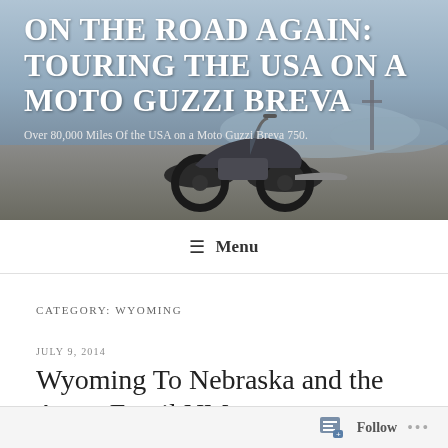[Figure (photo): Motorcycle (Moto Guzzi Breva) parked in a desert/arid landscape with mountains and utility poles in the background. Hero banner image for a blog.]
ON THE ROAD AGAIN: TOURING THE USA ON A MOTO GUZZI BREVA
Over 80,000 Miles Of the USA on a Moto Guzzi Breva 750.
≡ Menu
CATEGORY: WYOMING
JULY 9, 2014
Wyoming To Nebraska and the Agate Fossil NM
Follow ...